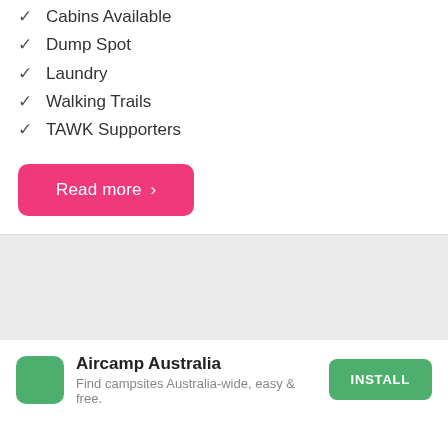✓ Cabins Available
✓ Dump Spot
✓ Laundry
✓ Walking Trails
✓ TAWK Supporters
Read more ›
[Figure (other): Gray placeholder banner area]
Aircamp Australia
Find campsites Australia-wide, easy & free.
INSTALL